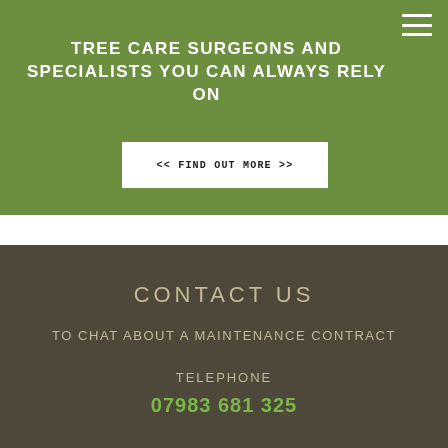TREE CARE SURGEONS AND SPECIALISTS YOU CAN ALWAYS RELY ON
<< FIND OUT MORE >>
CONTACT US
TO CHAT ABOUT A MAINTENANCE CONTRACT
TELEPHONE
07983 681 325